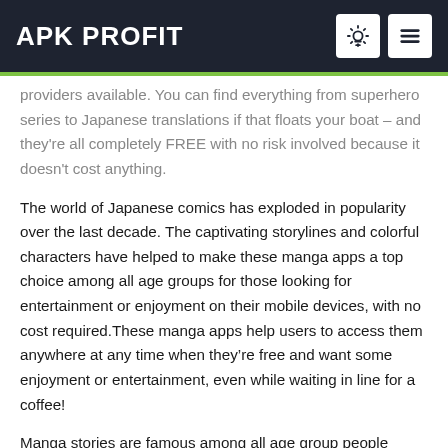APK PROFIT
providers available. You can find everything from superhero series to Japanese translations if that floats your boat – and they're all completely FREE with no risk involved because it doesn't cost anything.
The world of Japanese comics has exploded in popularity over the last decade. The captivating storylines and colorful characters have helped to make these manga apps a top choice among all age groups for those looking for entertainment or enjoyment on their mobile devices, with no cost required.These manga apps help users to access them anywhere at any time when they're free and want some enjoyment or entertainment, even while waiting in line for a coffee!
Manga stories are famous among all age group people because of the amazing storyline and cartoon characters that they offer a look into another culture's art forms while still providing an